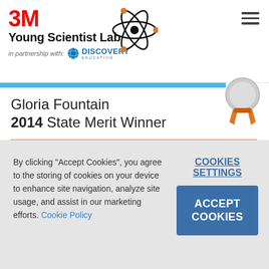3M Young Scientist Lab — in partnership with Discovery Education
Gloria Fountain
2014 State Merit Winner
7th grade
Illinois
By clicking "Accept Cookies", you agree to the storing of cookies on your device to enhance site navigation, analyze site usage, and assist in our marketing efforts. Cookie Policy
COOKIES SETTINGS
ACCEPT COOKIES